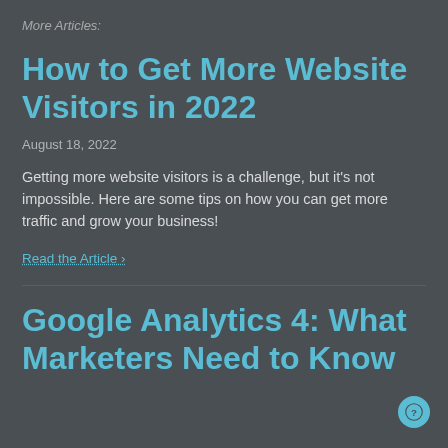More Articles:
How to Get More Website Visitors in 2022
August 18, 2022
Getting more website visitors is a challenge, but it's not impossible. Here are some tips on how you can get more traffic and grow your business!
Read the Article ›
Google Analytics 4: What Marketers Need to Know